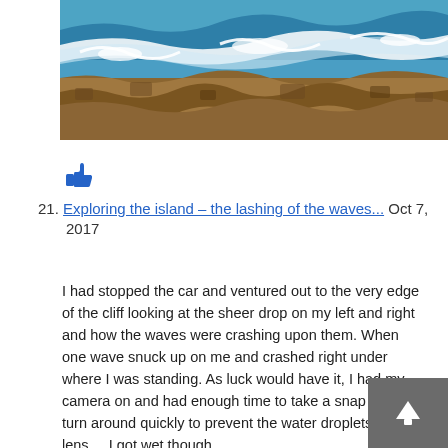[Figure (photo): Photograph of ocean waves crashing onto rocky cliffs, with turquoise blue water and white foam visible.]
[Figure (other): Thumbs up like icon in blue color]
21. Exploring the island – the lashing of the waves... Oct 7, 2017
I had stopped the car and ventured out to the very edge of the cliff looking at the sheer drop on my left and right and how the waves were crashing upon them. When one wave snuck up on me and crashed right under where I was standing. As luck would have it, I had my camera on and had enough time to take a snap and turn around quickly to prevent the water droplets hit the lens.... I got wet though...